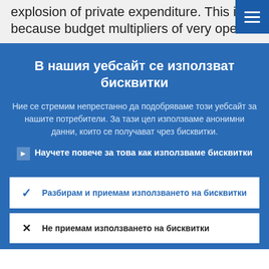explosion of private expenditure. This is because budget multipliers of very open
В нашия уебсайт се използват бисквитки
Ние се стремим непрестанно да подобряваме този уебсайт за нашите потребители. За тази цел използваме анонимни данни, които се получават чрез бисквитки.
Научете повече за това как използваме бисквитки
Разбирам и приемам използването на бисквитки
Не приемам използването на бисквитки